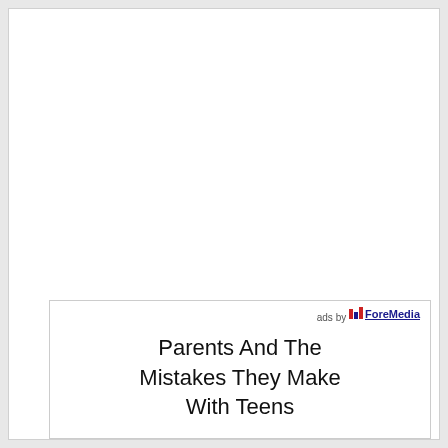[Figure (other): Advertisement box with 'ads by ForeMedia' label and title text 'Parents And The Mistakes They Make With Teens']
Parents And The Mistakes They Make With Teens